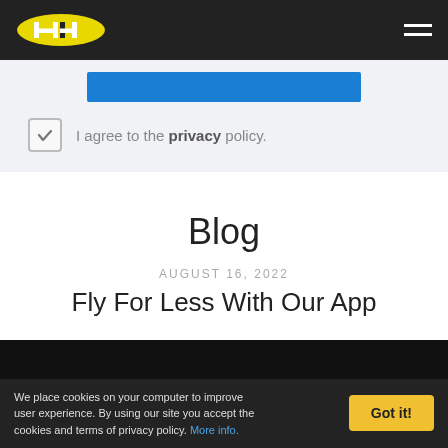Horizon Air logo and navigation header
I agree to the privacy policy.
Blog
AUGUST 16, 2022
Fly For Less With Our App
[Figure (photo): Black image area below blog post title]
We place cookies on your computer to improve user experience. By using our site you accept the cookies and terms of privacy policy. More info.